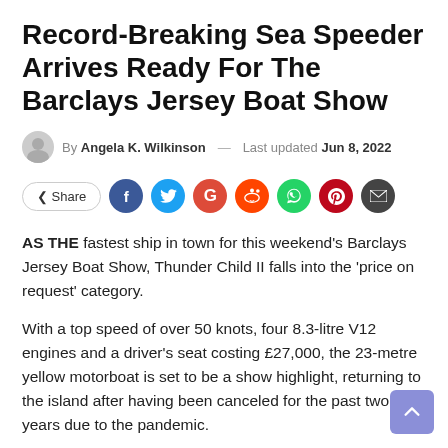Record-Breaking Sea Speeder Arrives Ready For The Barclays Jersey Boat Show
By Angela K. Wilkinson — Last updated Jun 8, 2022
AS THE fastest ship in town for this weekend's Barclays Jersey Boat Show, Thunder Child II falls into the 'price on request' category.
With a top speed of over 50 knots, four 8.3-litre V12 engines and a driver's seat costing £27,000, the 23-metre yellow motorboat is set to be a show highlight, returning to the island after having been canceled for the past two years due to the pandemic.
Thunder Child has docked at St Helier Marina, but to be really th...